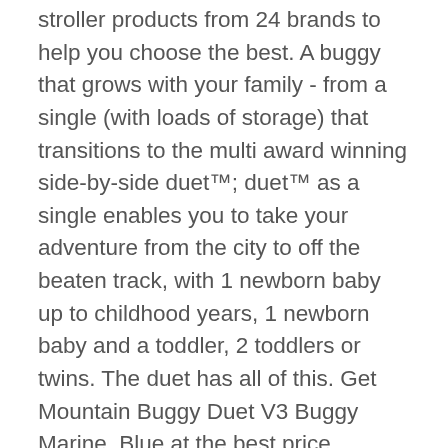stroller products from 24 brands to help you choose the best. A buggy that grows with your family - from a single (with loads of storage) that transitions to the multi award winning side-by-side duet™; duet™ as a single enables you to take your adventure from the city to off the beaten track, with 1 newborn baby up to childhood years, 1 newborn baby and a toddler, 2 toddlers or twins. The duet has all of this. Get Mountain Buggy Duet V3 Buggy Marine, Blue at the best price available today. Convert your duet stroller into an easy travel system for 1 or 2 babies. It basically does the exact same job as the Donkey but at half the price. This stroller is perfect for toddlers, newborns, twins, siblings, and more so virtually anyone can use it to comfortably transport their small children with them while on the go. Did a lot of research before purchasing. The Mountain Buggy duet is the most compact, fully featured, all-terrain